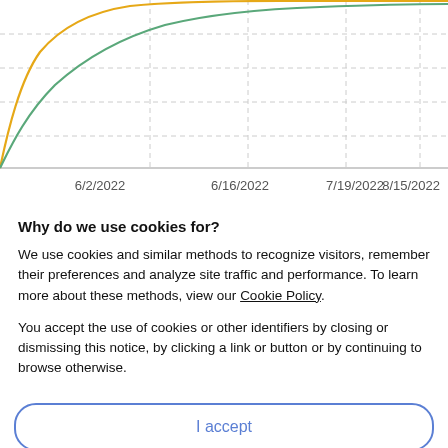[Figure (continuous-plot): Line chart showing two curves (orange and teal/green) rising steeply from origin and leveling off, plotted over dates from approximately late May 2022 to beyond 8/15/2022. X-axis labels: 6/2/2022, 6/16/2022, 7/19/2022, 8/15/2022. Dashed gridlines visible.]
Why do we use cookies for?
We use cookies and similar methods to recognize visitors, remember their preferences and analyze site traffic and performance. To learn more about these methods, view our Cookie Policy.
You accept the use of cookies or other identifiers by closing or dismissing this notice, by clicking a link or button or by continuing to browse otherwise.
I accept